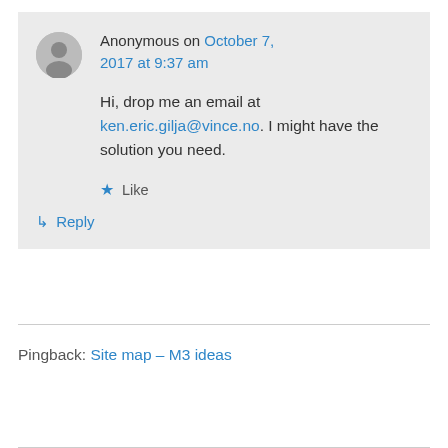Anonymous on October 7, 2017 at 9:37 am
Hi, drop me an email at ken.eric.gilja@vince.no. I might have the solution you need.
★ Like
↳ Reply
Pingback: Site map – M3 ideas